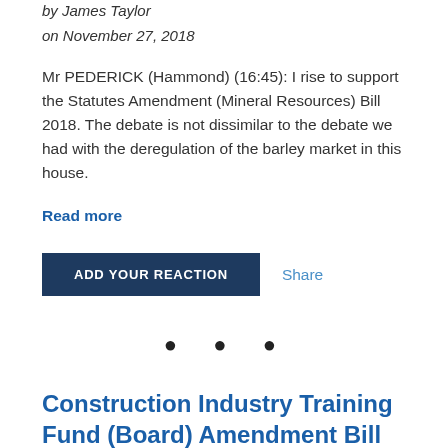by James Taylor
on November 27, 2018
Mr PEDERICK (Hammond) (16:45): I rise to support the Statutes Amendment (Mineral Resources) Bill 2018. The debate is not dissimilar to the debate we had with the deregulation of the barley market in this house.
Read more
ADD YOUR REACTION
Share
• • •
Construction Industry Training Fund (Board) Amendment Bill